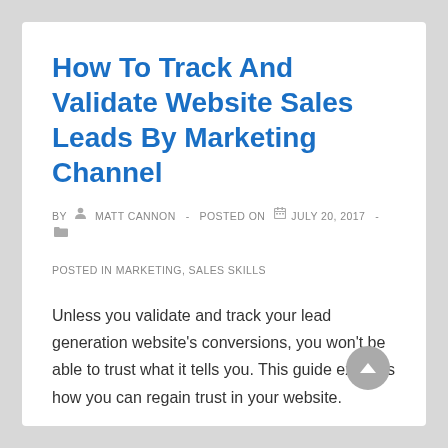How To Track And Validate Website Sales Leads By Marketing Channel
BY ● MATT CANNON  -  POSTED ON ■ JULY 20, 2017  -  ▶ POSTED IN MARKETING, SALES SKILLS
Unless you validate and track your lead generation website’s conversions, you won’t be able to trust what it tells you. This guide explains how you can regain trust in your website.
Read more ›